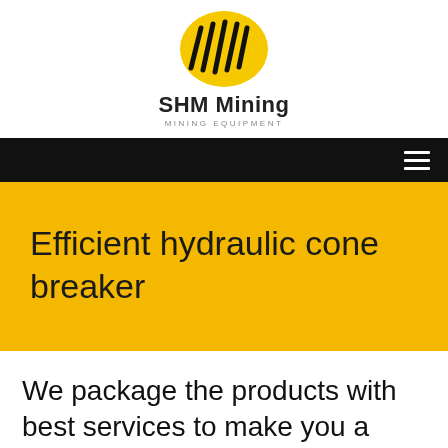[Figure (logo): SHM Mining logo: yellow oval with black diagonal stripe lines, company name 'SHM Mining' in bold black, subtitle 'MINING EQUIPMENT' in small grey caps]
SHM Mining MINING EQUIPMENT
Efficient hydraulic cone breaker
We package the products with best services to make you a happy